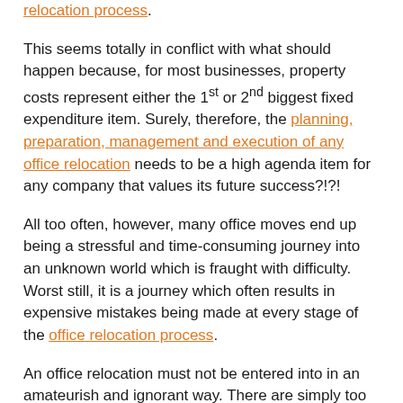relocation process. (partial/continuation from previous page)
This seems totally in conflict with what should happen because, for most businesses, property costs represent either the 1st or 2nd biggest fixed expenditure item. Surely, therefore, the planning, preparation, management and execution of any office relocation needs to be a high agenda item for any company that values its future success?!?!
All too often, however, many office moves end up being a stressful and time-consuming journey into an unknown world which is fraught with difficulty. Worst still, it is a journey which often results in expensive mistakes being made at every stage of the office relocation process.
An office relocation must not be entered into in an amateurish and ignorant way. There are simply too many expensive pitfalls that will catch you out.
Especially when experience clearly shows that those companies that plan, manage and execute their office moves properly end up being able to bring about increased business performance and positive change management in